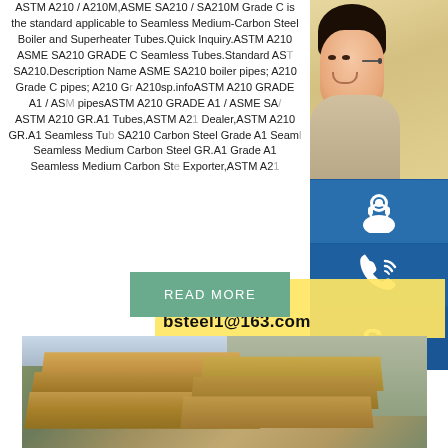ASTM A210 / A210M,ASME SA210 / SA210M Grade C is the standard applicable to Seamless Medium-Carbon Steel Boiler and Superheater Tubes.Quick Inquiry.ASTM A210 ASME SA210 GRADE C Seamless Tubes.Standard ASTM A210 / SA210.Description Name ASME SA210 boiler pipes; A210 Grade C pipes; A210 Grade A1 pipes A210sp.infoASTM A210 GRADE A1 / ASME SA210 pipesASTM A210 GRADE A1 / ASME SA210 ASTM A210 GR.A1 Tubes,ASTM A210 Dealer,ASTM A210 GR.A1 Seamless Tubes, SA210 Carbon Steel Grade A1 Seamless, Seamless Medium Carbon Steel GR.A1 Grade A1 Seamless Medium Carbon Steel Exporter,ASTM A210
[Figure (photo): Customer service representative woman with headset, with blue icons for support (headset icon, phone icon, Skype icon) on the right side]
[Figure (infographic): Contact bar with text: MANUAL SE... QUOTING O... bsteel1@163.com]
[Figure (other): READ MORE button in muted green/teal color]
[Figure (photo): Steel plates stacked in a yard, outdoor industrial setting]